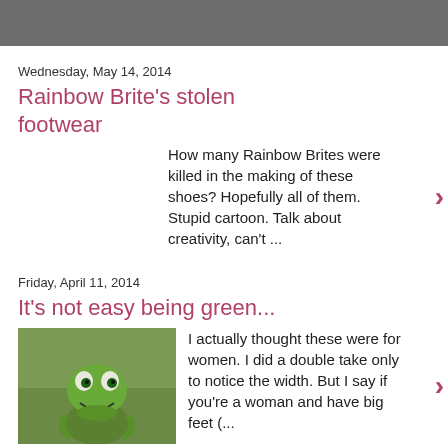Wednesday, May 14, 2014
Rainbow Brite's stolen footwear
How many Rainbow Brites were killed in the making of these shoes? Hopefully all of them. Stupid cartoon. Talk about creativity, can't ...
Friday, April 11, 2014
It's not easy being green...
[Figure (photo): Photo of Kermit the Frog sitting outdoors]
I actually thought these were for women. I did a double take only to notice the width. But I say if you're a woman and have big feet (...
Wednesday, April 9, 2014
The things German tourists wear
Don't know about this one Brada. You kind of